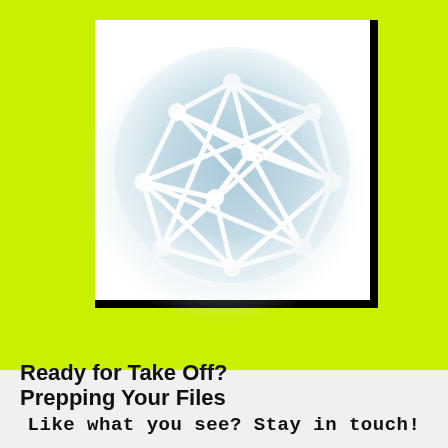[Figure (illustration): A network graph icon showing interconnected nodes with white lines on a light blue circular background, displayed within a white framed box with black border on right and bottom sides, set against a bright yellow-green background.]
Ready for Take Off? Prepping Your Files
Like what you see? Stay in touch!